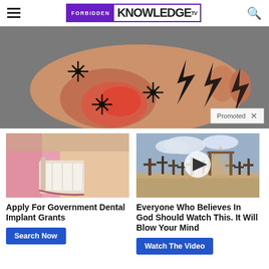FORBIDDEN KNOWLEDGE TV
[Figure (photo): Close-up of a foot/hand on gray fabric with illustrated black lightning bolt symbols and starburst pain indicators overlaid, with a 'Promoted X' badge in the lower right corner.]
[Figure (photo): A woman smiling with dental work being done, pink gloves visible.]
Apply For Government Dental Implant Grants
Search Now
[Figure (photo): An outdoor cemetery with wooden crosses and a play button overlay, suggesting a video thumbnail.]
Everyone Who Believes In God Should Watch This. It Will Blow Your Mind
Watch The Video